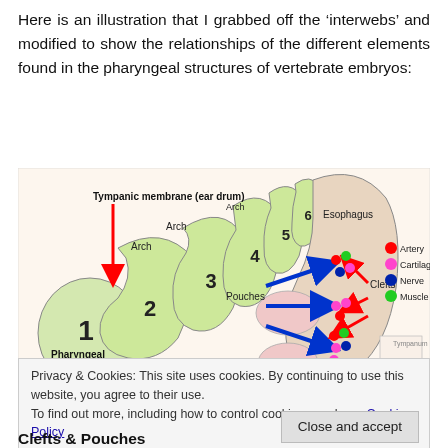Here is an illustration that I grabbed off the 'interwebs' and modified to show the relationships of the different elements found in the pharyngeal structures of vertebrate embryos:
[Figure (illustration): Anatomical illustration of pharyngeal structures in vertebrate embryos, showing pharyngeal arches (1-6), pouches, clefts, tympanic membrane (ear drum), esophagus, and a legend indicating Artery (red dot), Cartilage (pink dot), Nerve (blue dot), Muscle (green dot). Blue arrows indicate pouches direction, red arrows indicate clefts.]
Privacy & Cookies: This site uses cookies. By continuing to use this website, you agree to their use.
To find out more, including how to control cookies, see here: Cookie Policy
Clefts & Pouches